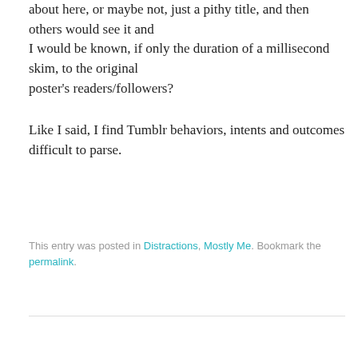about here, or maybe not, just a pithy title, and then others would see it and I would be known, if only the duration of a millisecond skim, to the original poster's readers/followers?
Like I said, I find Tumblr behaviors, intents and outcomes difficult to parse.
This entry was posted in Distractions, Mostly Me. Bookmark the permalink.